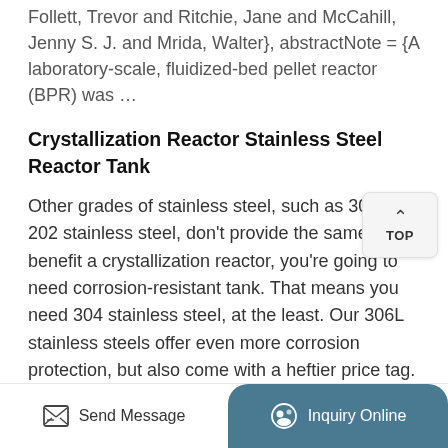Follett, Trevor and Ritchie, Jane and McCahill, Jenny S. J. and Mrida, Walter}, abstractNote = {A laboratory-scale, fluidized-bed pellet reactor (BPR) was …
Crystallization Reactor Stainless Steel Reactor Tank
Other grades of stainless steel, such as 303 or 202 stainless steel, don't provide the same benefit a crystallization reactor, you're going to need corrosion-resistant tank. That means you need 304 stainless steel, at the least. Our 306L stainless steels offer even more corrosion protection, but also come with a heftier price tag.
Glass Crystallization Reactor Supplier
Send Message
Inquiry Online